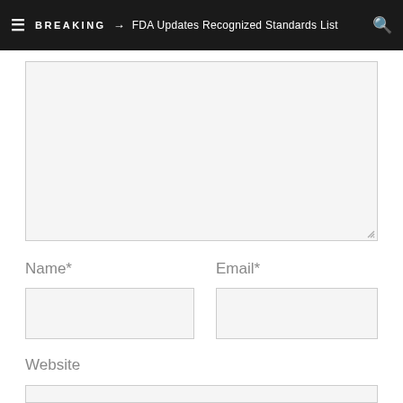BREAKING → FDA Updates Recognized Standards List
[Figure (other): Large comment text area input box, light gray background with resize handle at bottom right]
Name*
Email*
[Figure (other): Name text input field, light gray background]
[Figure (other): Email text input field, light gray background]
Website
[Figure (other): Website text input field, light gray background]